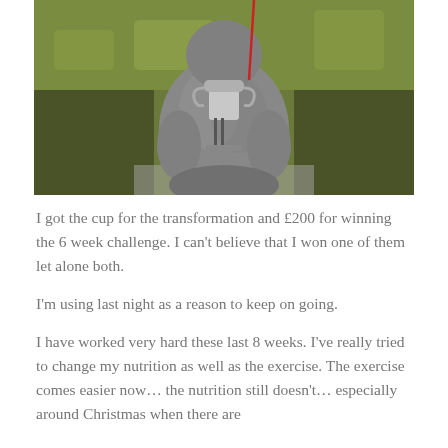[Figure (photo): A person wearing a grey puffer jacket holds a trophy cup outdoors, standing in front of a hedge or dense foliage. A red line or cord is visible near the top of the image.]
I got the cup for the transformation and £200 for winning the 6 week challenge. I can't believe that I won one of them let alone both.
I'm using last night as a reason to keep on going.
I have worked very hard these last 8 weeks. I've really tried to change my nutrition as well as the exercise. The exercise comes easier now… the nutrition still doesn't… especially around Christmas when there are